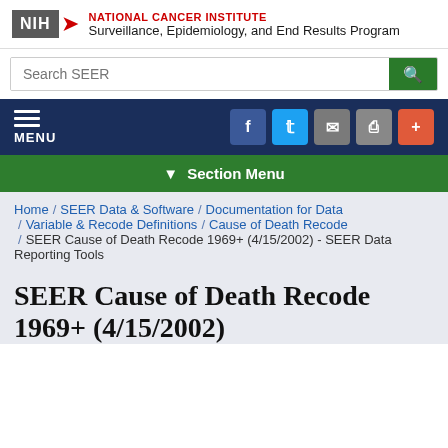[Figure (logo): NIH logo with red chevron arrow and National Cancer Institute / Surveillance, Epidemiology, and End Results Program header text]
[Figure (screenshot): Search SEER search bar with green search button]
[Figure (screenshot): Dark navy navigation bar with hamburger menu icon labeled MENU and social/share icons (Facebook, Twitter, Email, Print, Plus)]
[Figure (screenshot): Green Section Menu dropdown bar]
Home / SEER Data & Software / Documentation for Data / Variable & Recode Definitions / Cause of Death Recode / SEER Cause of Death Recode 1969+ (4/15/2002) - SEER Data Reporting Tools
SEER Cause of Death Recode 1969+ (4/15/2002)